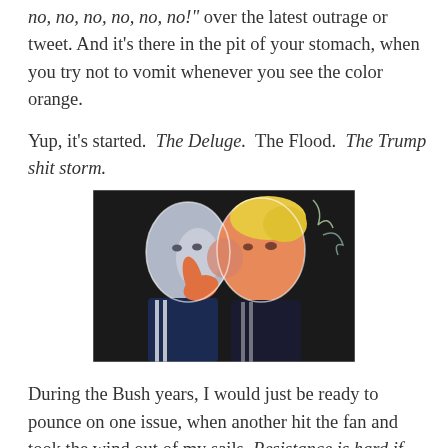no, no, no, no, no, no!" over the latest outrage or tweet. And it's there in the pit of your stomach, when you try not to vomit whenever you see the color orange.
Yup, it's started.  The Deluge.  The Flood.  The Trump shit storm.
[Figure (photo): Graffiti mural showing two figures (resembling Putin and Trump) kissing, on a dark background with graffiti elements.]
During the Bush years, I would just be ready to pounce on one issue, when another hit the fan and took the wind out of my sails. Resistance is hard if there is just so much to